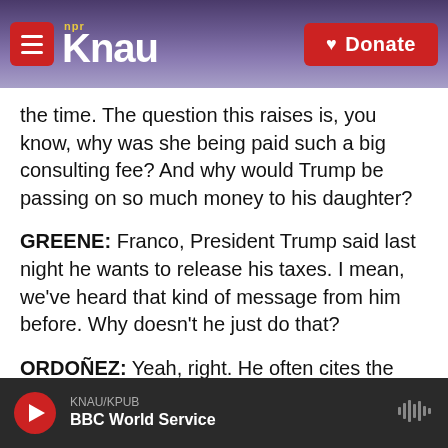KNAU NPR / Donate
the time. The question this raises is, you know, why was she being paid such a big consulting fee? And why would Trump be passing on so much money to his daughter?
GREENE: Franco, President Trump said last night he wants to release his taxes. I mean, we've heard that kind of message from him before. Why doesn't he just do that?
ORDOÑEZ: Yeah, right. He often cites the ongoing IRS audit - Jim talked about it as well - as an excuse for not releasing his tax returns. It is interesting. You know, the reports... The New York Times report
KNAU/KPUB BBC World Service